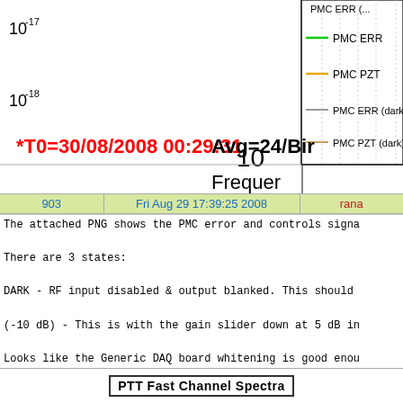[Figure (other): Spectrum plot showing PMC error and control signals with legend. Y-axis shows 10^-17 and 10^-18. Legend shows PMC ERR (green), PMC PZT (orange), PMC ERR dark (gray), PMC PZT dark (tan). X-axis label: Frequency. Annotations: *T0=30/08/2008 00:29:31 and Avg=24/Bin]
| 903 | Fri Aug 29 17:39:25 2008 | rana |
| --- | --- | --- |
The attached PNG shows the PMC error and controls signa

There are 3 states:

DARK - RF input disabled & output blanked. This should

(-10 dB) - This is with the gain slider down at 5 dB in

Looks like the Generic DAQ board whitening is good enou

From the low and high gain spectra it also looks like t
Attachment 1: mcf.png
[Figure (other): Bottom partial section showing a box with bold text (PZT Fast Channel Spectra or similar)]